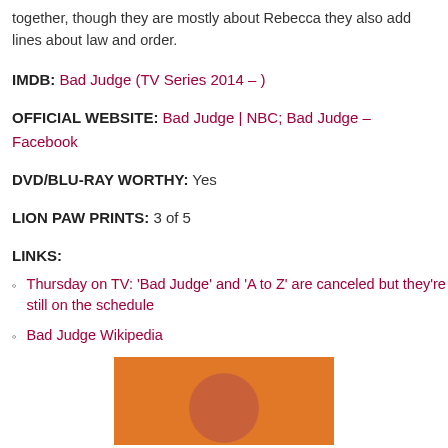together, though they are mostly about Rebecca they also add lines about law and order.
IMDB: Bad Judge (TV Series 2014 – )
OFFICIAL WEBSITE: Bad Judge | NBC; Bad Judge – Facebook
DVD/BLU-RAY WORTHY: Yes
LION PAW PRINTS: 3 of 5
LINKS:
Thursday on TV: 'Bad Judge' and 'A to Z' are canceled but they're still on the schedule
Bad Judge Wikipedia
[Figure (photo): Photo showing a person with red/auburn hair against an orange background, cropped at the bottom of the page.]